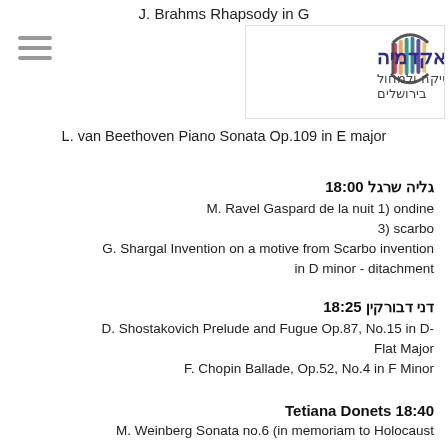J. Brahms Rhapsody in G
[Figure (logo): האקדמיה למוסיקה ולמחול בירושלים logo with harp icon]
L. van Beethoven Piano Sonata Op.109 in E major
גליה שרגל 18:00
M. Ravel Gaspard de la nuit 1) ondine
3) scarbo
G. Shargal Invention on a motive from Scarbo invention in D minor - ditachment
דני דבורקין 18:25
D. Shostakovich Prelude and Fugue Op.87, No.15 in D-Flat Major
F. Chopin Ballade, Op.52, No.4 in F Minor
Tetiana Donets 18:40
M. Weinberg Sonata no.6 (in memoriam to Holocaust